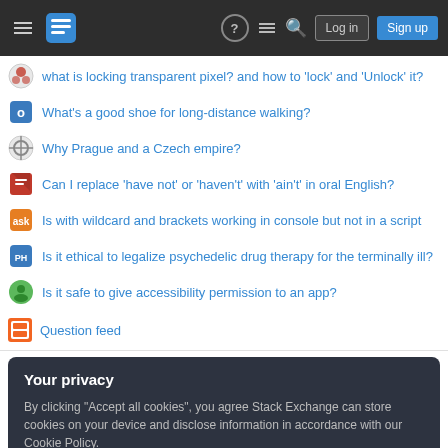Stack Exchange navigation header with Log in and Sign up buttons
what is locking transparent pixel? and how to 'lock' and 'Unlock' it?
What's a good shoe for long-distance walking?
Why Prague and a Czech empire?
Can I replace 'have not' or 'haven't' with 'ain't' in oral English?
Is with wildcard and brackets working in console but not in a script
Is it ethical to legalize psychedelic drug therapy for the terminally ill?
Is it safe to give accessibility permission to an app?
Question feed
Your privacy
By clicking "Accept all cookies", you agree Stack Exchange can store cookies on your device and disclose information in accordance with our Cookie Policy.